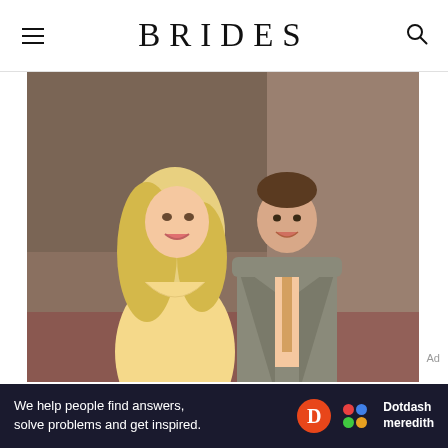BRIDES
[Figure (photo): A blonde woman in a yellow dress and a man in a grey suit with a peach tie posing together on a red carpet event.]
We help people find answers, solve problems and get inspired. Dotdash meredith